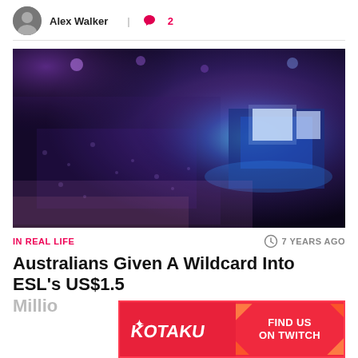Alex Walker | 💬 2
[Figure (photo): Aerial/wide-angle view of a massive esports arena filled with a large crowd, stage lit with blue and purple lights, large display screens visible, indoor venue]
IN REAL LIFE
7 YEARS AGO
Australians Given A Wildcard Into ESL's US$1.5 Millio...
[Figure (logo): Kotaku advertisement banner with Kotaku logo on left and 'FIND US ON TWITCH' text on right, red background with orange diagonal stripe accents]